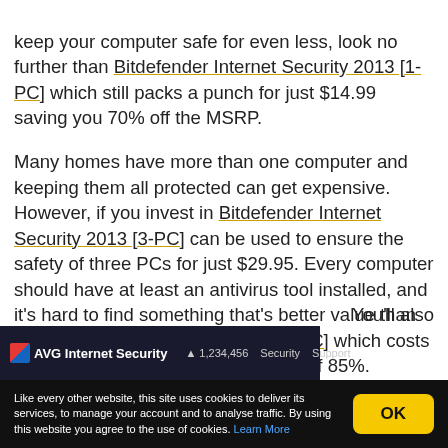keep your computer safe for even less, look no further than Bitdefender Internet Security 2013 [1-PC] which still packs a punch for just $14.99 saving you 70% off the MSRP.
Many homes have more than one computer and keeping them all protected can get expensive. However, if you invest in Bitdefender Internet Security 2013 [3-PC] can be used to ensure the safety of three PCs for just $29.95. Every computer should have at least an antivirus tool installed, and it's hard to find something that's better value than Bitdefender Antivirus Plus 2013 [1-PC] which costs just $5.95 with a massive reduction of 85%.
You'll also
[Figure (screenshot): Partial screenshot of AVG Internet Security browser toolbar/application bar]
Like every other website, this site uses cookies to deliver its services, to manage your account and to analyse traffic. By using this website you agree to the use of cookies. Learn More